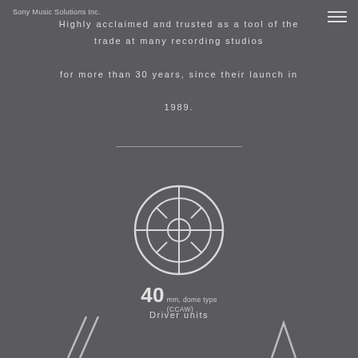Sony Music Solutions Inc.
Highly acclaimed and trusted as a tool of the trade at many recording studios for more than 30 years, since their launch in 1989.
[Figure (illustration): Circular headphone driver unit icon — concentric circles with cross pattern and central hub, drawn in white outline style]
40 mm, dome type (CCAW)
Driver units